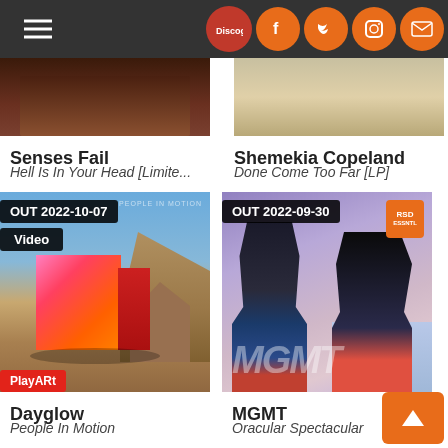Navigation bar with hamburger menu and social icons (Discogs, Facebook, Twitter, Instagram, Email)
[Figure (photo): Partial cropped album art for Senses Fail - dark brown tones, top portion only]
[Figure (photo): Partial cropped album art for Shemekia Copeland - warm golden tones, top portion only]
Senses Fail
Hell Is In Your Head [Limite...
Shemekia Copeland
Done Come Too Far [LP]
[Figure (photo): Dayglow album art 'People In Motion' - desert landscape with pink/orange gradient cube sculpture, OUT 2022-10-07 badge, Video badge, PlayARt badge]
[Figure (photo): MGMT album art 'Oracular Spectacular' - two band members in purple/pink tones, RSD badge, OUT 2022-09-30 badge]
Dayglow
People In Motion
MGMT
Oracular Spectacular